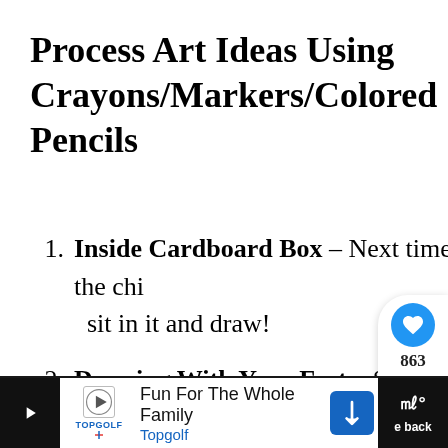Process Art Ideas Using Crayons/Markers/Colored Pencils
Inside Cardboard Box – Next time you get a delivery with a big box, let the child sit in it and draw!
Drawing With Your Feet – Sit in a chair and try drawing with your toes. gross motor skills.
[Figure (screenshot): Social media widget overlay with heart/like button showing 863 likes and a share button]
[Figure (screenshot): What's Next panel showing '10 Fun Letter A Activities f...' with colorful ABC image]
[Figure (screenshot): Advertisement banner for Topgolf: 'Fun For The Whole Family' with Topgolf logo and navigation arrow, plus dark right panel with 'back' text]